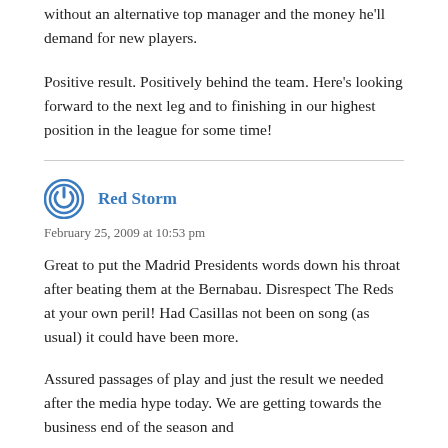without an alternative top manager and the money he'll demand for new players.
Positive result. Positively behind the team. Here's looking forward to the next leg and to finishing in our highest position in the league for some time!
Red Storm
February 25, 2009 at 10:53 pm
Great to put the Madrid Presidents words down his throat after beating them at the Bernabau. Disrespect The Reds at your own peril! Had Casillas not been on song (as usual) it could have been more.
Assured passages of play and just the result we needed after the media hype today. We are getting towards the business end of the season and